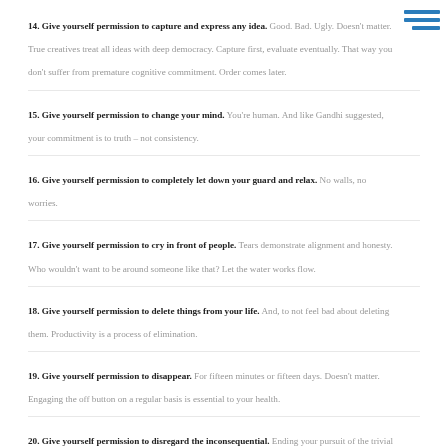14. Give yourself permission to capture and express any idea. Good. Bad. Ugly. Doesn't matter. True creatives treat all ideas with deep democracy. Capture first, evaluate eventually. That way you don't suffer from premature cognitive commitment. Order comes later.
15. Give yourself permission to change your mind. You're human. And like Gandhi suggested, your commitment is to truth – not consistency.
16. Give yourself permission to completely let down your guard and relax. No walls, no worries.
17. Give yourself permission to cry in front of people. Tears demonstrate alignment and honesty. Who wouldn't want to be around someone like that? Let the water works flow.
18. Give yourself permission to delete things from your life. And, to not feel bad about deleting them. Productivity is a process of elimination.
19. Give yourself permission to disappear. For fifteen minutes or fifteen days. Doesn't matter. Engaging the off button on a regular basis is essential to your health.
20. Give yourself permission to disregard the inconsequential. Ending your pursuit of the trivial and focusing on stuff that matters is unbelievably liberating.